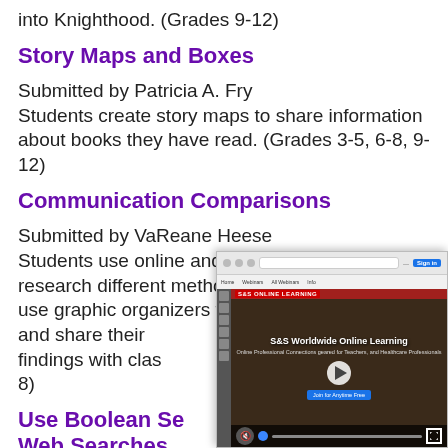into Knighthood. (Grades 9-12)
Story Maps and Boxes
Submitted by Patricia A. Fry
Students create story maps to share information about books they have read. (Grades 3-5, 6-8, 9-12)
Communication Comparisons
Submitted by VaReane Heese
Students use online and print resources to research different methods of communication, use graphic organizers to compare the methods, and share their findings with clas[smates. Grades 6-8)
Use Boolean Se[arches to Improve] Web Searches
Submitted by Ma[...]
[Figure (screenshot): Video player overlay showing S&S Worldwide Online Learning website with a video player, play button, mute button, progress bar, and fullscreen icon.]